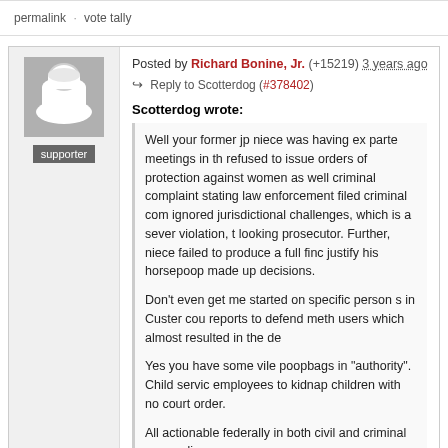permalink · vote tally
Posted by Richard Bonine, Jr. (+15219) 3 years ago
Reply to Scotterdog (#378402)
Scotterdog wrote:
Well your former jp niece was having ex parte meetings in th... refused to issue orders of protection against women as well... criminal complaint stating law enforcement filed criminal com... ignored jurisdictional challenges, which is a sever violation, t... looking prosecutor. Further, niece failed to produce a full finc... justify his horsepoop made up decisions.

Don't even get me started on specific person s in Custer cou... reports to defend meth users which almost resulted in the de...

Yes you have some vile poopbags in "authority". Child servic... employees to kidnap children with no court order.

All actionable federally in both civil and criminal proceedings...

[Edited by Scotterdog (8/6/2019 1:52:04 PM)]